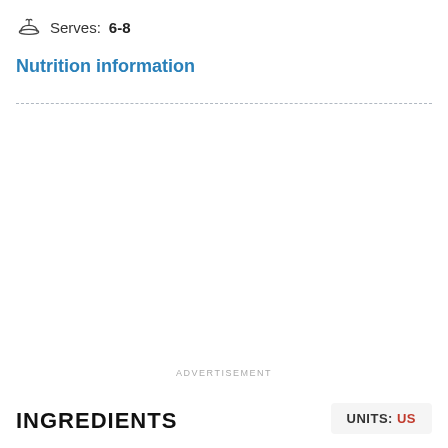Serves: 6-8
Nutrition information
ADVERTISEMENT
INGREDIENTS
UNITS: US